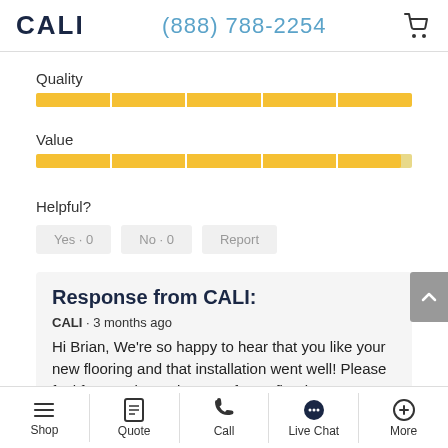CALI  (888) 788-2254
Quality
[Figure (bar-chart): Full golden/yellow rating bar for Quality, divided into 5 segments]
Value
[Figure (bar-chart): Full golden/yellow rating bar for Value, divided into 5 segments]
Helpful?
Yes · 0   No · 0   Report
Response from CALI:
CALI · 3 months ago
Hi Brian, We're so happy to hear that you like your new flooring and that installation went well! Please feel free to share pictures of your flooring.
Shop  Quote  Call  Live Chat  More